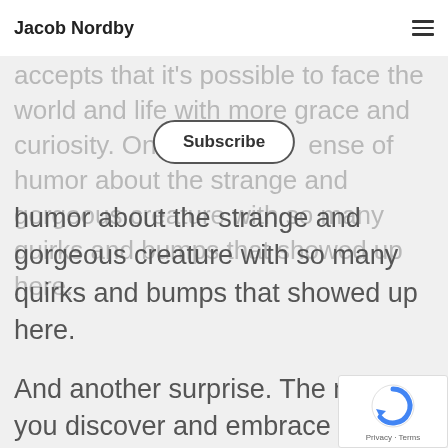Jacob Nordby
accepts that it's possible to face the world and life with more grace and curiosity. On a sense of humor about the strange and gorgeous creature with so many quirks and bumps that showed up here.
And another surprise. The more you discover and embrace yourself as you are, the more those old attributes born of fear and unworthiness fall away. Self-centeredness gives way to kindness
[Figure (other): reCAPTCHA badge with Privacy and Terms text]